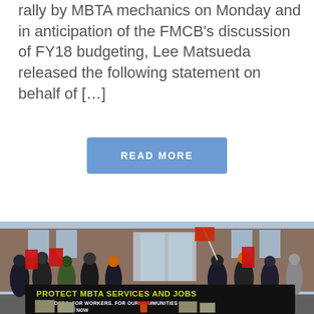rally by MBTA mechanics on Monday and in anticipation of the FMCB's discussion of FY18 budgeting, Lee Matsueda released the following statement on behalf of […]
READ MORE
[Figure (photo): Outdoor protest rally with crowd of people holding signs and banners. A large black banner reads 'PROTECT MBTA SERVICES AND JOBS FOR RIDERS. FOR WORKERS. FOR OUR COMMUNITIES' with INVEST NOW branding. People are bundled in winter clothing.]